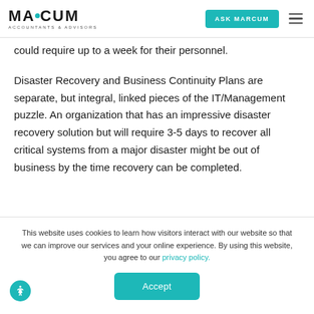MARCUM ACCOUNTANTS & ADVISORS | ASK MARCUM
could require up to a week for their personnel.
Disaster Recovery and Business Continuity Plans are separate, but integral, linked pieces of the IT/Management puzzle. An organization that has an impressive disaster recovery solution but will require 3-5 days to recover all critical systems from a major disaster might be out of business by the time recovery can be completed.
This website uses cookies to learn how visitors interact with our website so that we can improve our services and your online experience. By using this website, you agree to our privacy policy.
Accept